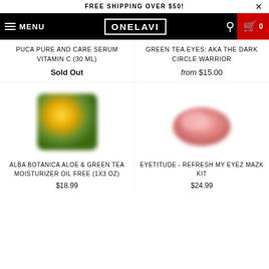FREE SHIPPING OVER $50!
MENU | ONELAVI | 🔍 | 🛒 0
PUCA PURE AND CARE SERUM VITAMIN C (30 ML)
Sold Out
GREEN TEA EYES: AKA THE DARK CIRCLE WARRIOR
from $15.00
[Figure (photo): Blurred yellow/green product box for Alba Botanica Aloe & Green Tea Moisturizer]
ALBA BOTANICA ALOE & GREEN TEA MOISTURIZER OIL FREE (1X3 OZ)
$18.99
[Figure (photo): Blurred pink product set for Eyetitude Refresh My Eyez Mazk Kit]
EYETITUDE - REFRESH MY EYEZ MAZK KIT
$24.99